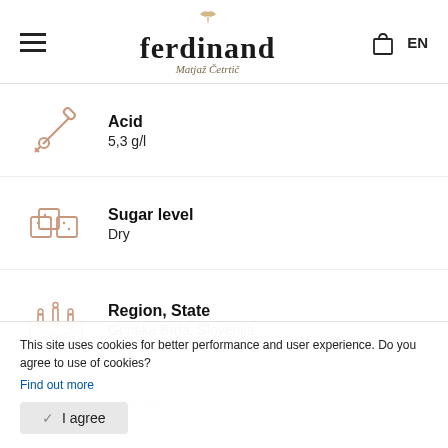ferdinand Matjaž Četrtič — EN
Acid
5,3 g/l
Sugar level
Dry
Region, State
Goriška Brda, Slovenija
Vintage
This site uses cookies for better performance and user experience. Do you agree to use of cookies?
Find out more
I agree